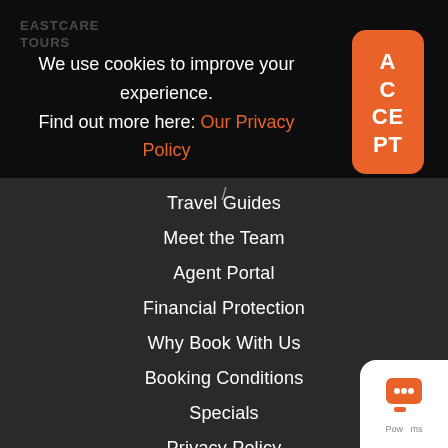EASTCARE TOURS
We use cookies to improve your experience. Find out more here: Our Privacy Policy
[Figure (other): Orange ACCEPT button/badge in top right corner]
Travel Guides
Meet the Team
Agent Portal
Financial Protection
Why Book With Us
Booking Conditions
Specials
Privacy Policy
[Figure (other): Chat bubble icon in bottom right corner]